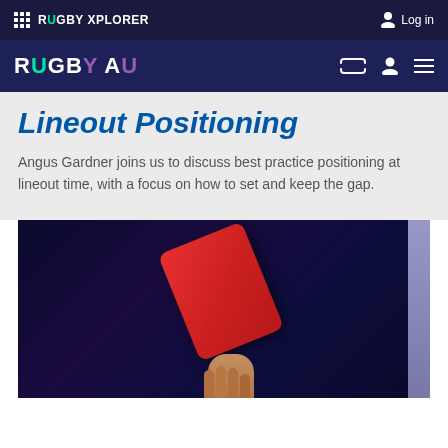RUGBY XPLORER
RUGBY AU
Lineout Positioning
Angus Gardner joins us to discuss best practice positioning at lineout time, with a focus on how to set and keep the gap.
[Figure (photo): A red card being held up, shown against a dark blue/purple background. A hand is visible at the bottom holding the card. There is a light purple side panel on the right edge.]